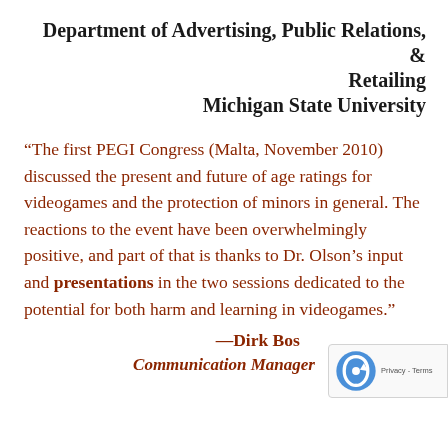Department of Advertising, Public Relations, & Retailing
Michigan State University
“The first PEGI Congress (Malta, November 2010) discussed the present and future of age ratings for videogames and the protection of minors in general. The reactions to the event have been overwhelmingly positive, and part of that is thanks to Dr. Olson’s input and presentations in the two sessions dedicated to the potential for both harm and learning in videogames.”
—Dirk Bos
Communication Manager